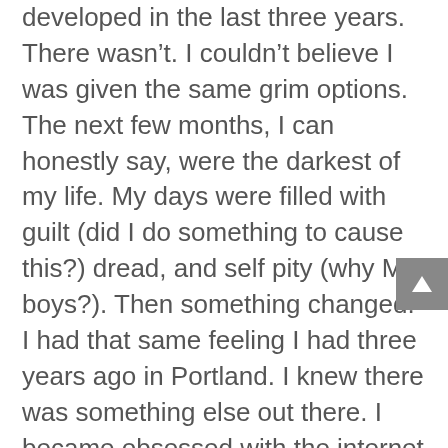developed in the last three years.  There wasn't.  I couldn't believe I was given the same grim options.  The next few months, I can honestly say, were the darkest of my life.  My days were filled with guilt (did I do something to cause this?) dread, and self pity (why MY boys?).  Then something changed.  I had that same feeling I had three years ago in Portland.  I knew there was something else out there.  I became obsessed with the internet until one day I came across an organization dedicated to infants and children with scoliosis.  ISOP (Infantile Scoliosis Outreach Program) was developed  by a mother who also has a child with severe scoliosis.  It is there that I learned about Dr. Mehta and her corrective, Early Treatment Method that did not involve surgery.  After numerous hours “talking” with other parents online, Davie and I decided it